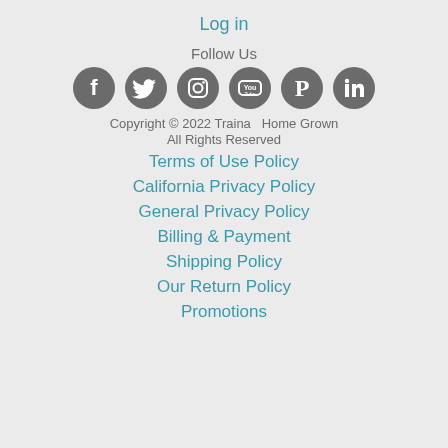Log in
Follow Us
[Figure (illustration): Six circular social media icons: Facebook, Twitter, Instagram, YouTube, Pinterest, LinkedIn]
Copyright © 2022 Traina  Home Grown
All Rights Reserved
Terms of Use Policy
California Privacy Policy
General Privacy Policy
Billing & Payment
Shipping Policy
Our Return Policy
Promotions